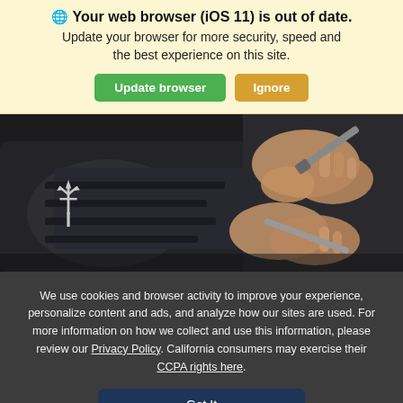🌐 Your web browser (iOS 11) is out of date. Update your browser for more security, speed and the best experience on this site.
[Figure (photo): Hands using a tool to work on a dark car engine bay with a Maserati trident logo visible on the engine cover.]
We use cookies and browser activity to improve your experience, personalize content and ads, and analyze how our sites are used. For more information on how we collect and use this information, please review our Privacy Policy. California consumers may exercise their CCPA rights here.